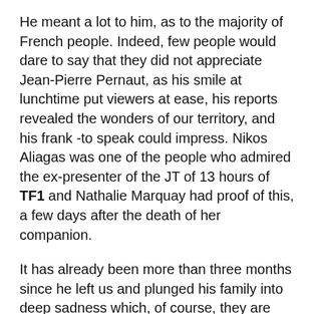He meant a lot to him, as to the majority of French people. Indeed, few people would dare to say that they did not appreciate Jean-Pierre Pernaut, as his smile at lunchtime put viewers at ease, his reports revealed the wonders of our territory, and his frank -to speak could impress. Nikos Aliagas was one of the people who admired the ex-presenter of the JT of 13 hours of TF1 and Nathalie Marquay had proof of this, a few days after the death of her companion.
It has already been more than three months since he left us and plunged his family into deep sadness which, of course, they are still struggling to overcome. “I cry outside. I have ups and downs. It’s very bad to mourn the dead too much. It’s complicated”confided